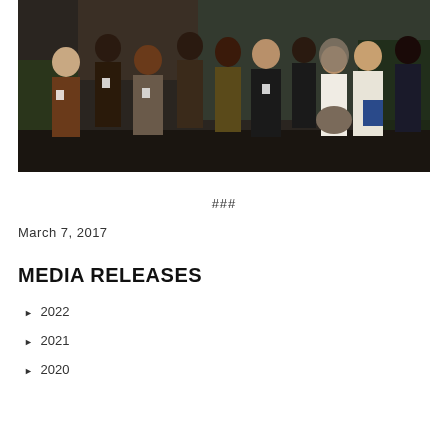[Figure (photo): Group photo of approximately 11 people standing together indoors in front of a glass building entrance, dressed in formal/business attire with conference badges.]
###
March 7, 2017
MEDIA RELEASES
2022
2021
2020